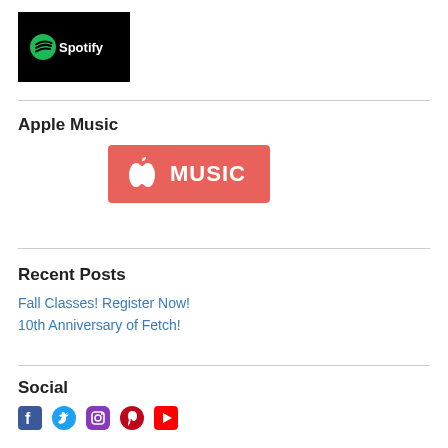[Figure (logo): Spotify logo on black background]
Apple Music
[Figure (logo): Apple Music logo — pink/red background with white apple icon and MUSIC text]
Recent Posts
Fall Classes! Register Now!
10th Anniversary of Fetch!
Social
[Figure (infographic): Social media icons: Facebook, Twitter, Instagram, Pinterest, YouTube]